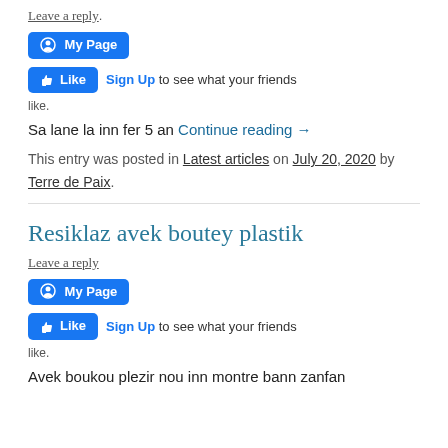Leave a reply
[Figure (other): Facebook My Page widget button]
[Figure (other): Facebook Like button with Sign Up to see what your friends like text]
Sa lane la inn fer 5 an Continue reading →
This entry was posted in Latest articles on July 20, 2020 by Terre de Paix.
Resiklaz avek boutey plastik
Leave a reply
[Figure (other): Facebook My Page widget button]
[Figure (other): Facebook Like button with Sign Up to see what your friends like text]
Avek boukou plezir nou inn montre bann zanfan